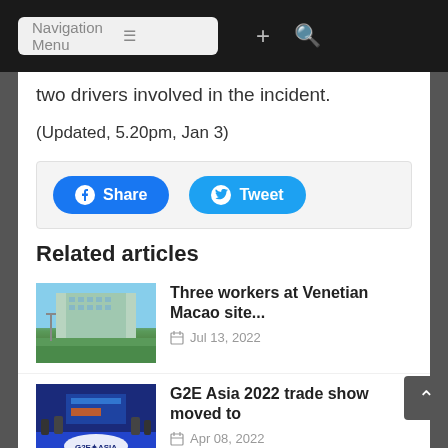Navigation Menu
two drivers involved in the incident.
(Updated, 5.20pm, Jan 3)
[Figure (other): Social share buttons: Facebook Share button and Twitter Tweet button]
Related articles
[Figure (photo): Venetian Macao building exterior photo]
Three workers at Venetian Macao site...
Jul 13, 2022
[Figure (photo): G2E Asia trade show event photo with G2E ASIA logo on blue carpet]
G2E Asia 2022 trade show moved to
Apr 08, 2022
More news